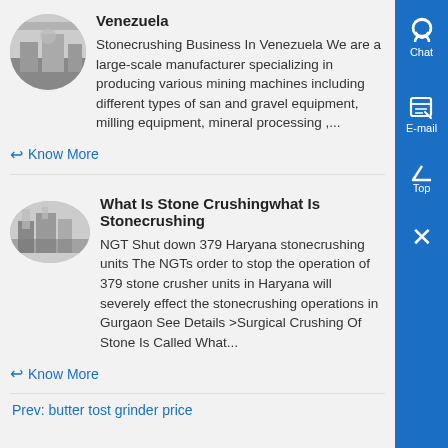Venezuela
Stonecrushing Business In Venezuela We are a large-scale manufacturer specializing in producing various mining machines including different types of san and gravel equipment, milling equipment, mineral processing ,...
Know More
What Is Stone Crushingwhat Is Stonecrushing
NGT Shut down 379 Haryana stonecrushing units The NGTs order to stop the operation of 379 stone crusher units in Haryana will severely effect the stonecrushing operations in Gurgaon See Details >Surgical Crushing Of Stone Is Called What...
Know More
Prev: butter tost grinder price